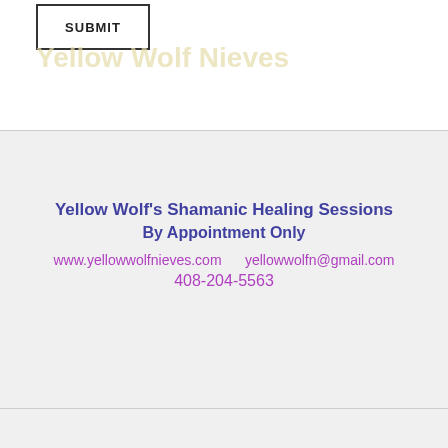[Figure (other): SUBMIT button box outline]
Yellow Wolf Nieves
Yellow Wolf's Shamanic Healing Sessions
By Appointment Only
www.yellowwolfnieves.com     yellowwolfn@gmail.com
408-204-5563